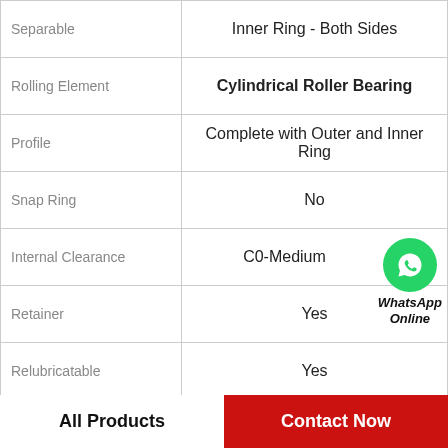| Property | Value |
| --- | --- |
| Separable | Inner Ring - Both Sides |
| Rolling Element | Cylindrical Roller Bearing |
| Profile | Complete with Outer and Inner Ring |
| Snap Ring | No |
| Internal Clearance | C0-Medium |
| Retainer | Yes |
| Relubricatable | Yes |
| Inch - Metric | Metric |
|  | Standard Capacity | Plain Inner Ring | 2 |
[Figure (illustration): WhatsApp Online button with green phone icon and bold italic text 'WhatsApp Online']
All Products   Contact Now